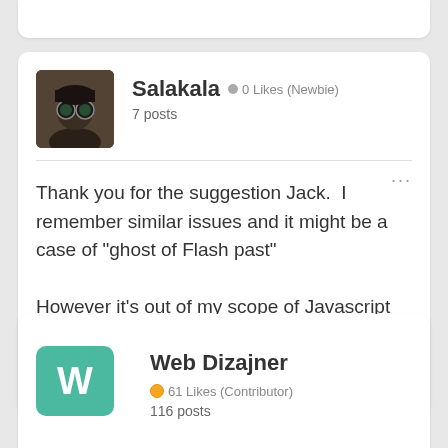Salakala  0 Likes (Newbie)
7 posts
Thank you for the suggestion Jack.  I remember similar issues and it might be a case of "ghost of Flash past"

However it's out of my scope of Javascript knowledge 🙂. I'll look in to it though.
Web Dizajner  61 Likes (Contributor)
116 posts